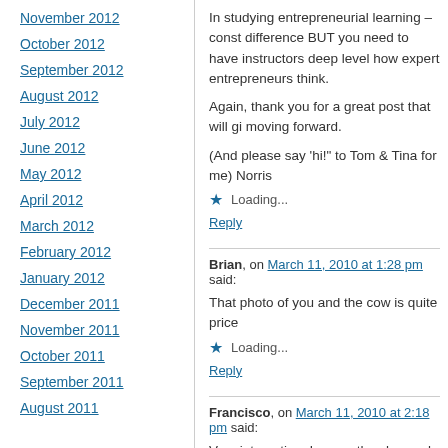November 2012
October 2012
September 2012
August 2012
July 2012
June 2012
May 2012
April 2012
March 2012
February 2012
January 2012
December 2011
November 2011
October 2011
September 2011
August 2011
In studying entrepreneurial learning – const... difference BUT you need to have instructors... deep level how expert entrepreneurs think.
Again, thank you for a great post that will gi... moving forward.
(And please say 'hi!' to Tom & Tina for me)... Norris
Loading...
Reply
Brian, on March 11, 2010 at 1:28 pm said:
That photo of you and the cow is quite price...
Loading...
Reply
Francisco, on March 11, 2010 at 2:18 pm said:
Very interesting. I sense they learned a lot a... Kiwi team 🙂 I envy those students.
Loading...